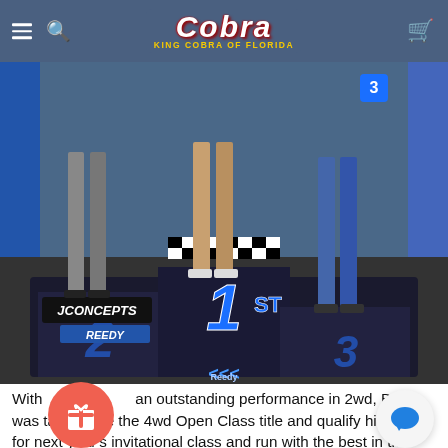King Cobra of Florida — navigation bar with logo, hamburger menu, search, and cart icons
[Figure (photo): Photo of a racing podium showing three people standing on 1st, 2nd, and 3rd place platforms. The podium is decorated with JConcepts and Reedy branding. A large blue '1st' graphic is visible on the center platform. Checkered flag pattern is displayed above the '1st' text.]
With an outstanding performance in 2wd, Broc was take home the 4wd Open Class title and qualify himself for next year's invitational class and run with the best in the business!